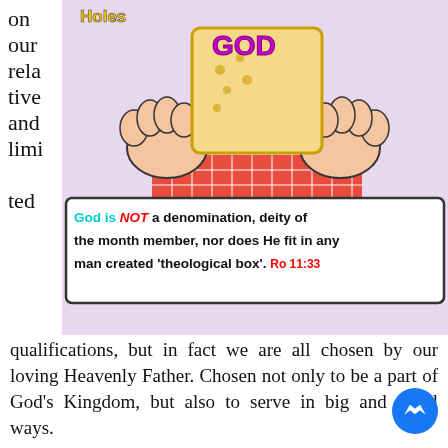on our relative and limited
[Figure (illustration): Cartoon illustration of hands holding a cracker/cookie with 'GOD' written on it, above a banner reading 'God is NOT a denomination, deity of the month member, nor does He fit in any man created 'theological box'. Ro 11:33'. Title 'Holes' appears at top left. Background is light purple.]
qualifications, but in fact we are all chosen by our loving Heavenly Father. Chosen not only to be a part of God's Kingdom, but also to serve in big and small ways.
So do not keep God in a box, and a lid on what is possible with regards to the blessings and opportunities to serve.
Then I heard the voice of the Lord saying, "Whom